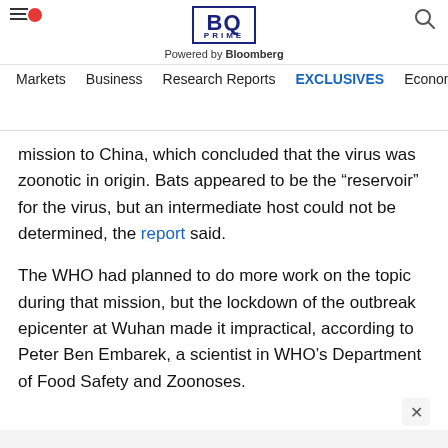BQ PRIME — Powered by Bloomberg — Markets | Business | Research Reports | EXCLUSIVES | Economy
mission to China, which concluded that the virus was zoonotic in origin. Bats appeared to be the “reservoir” for the virus, but an intermediate host could not be determined, the report said.
The WHO had planned to do more work on the topic during that mission, but the lockdown of the outbreak epicenter at Wuhan made it impractical, according to Peter Ben Embarek, a scientist in WHO’s Department of Food Safety and Zoonoses.